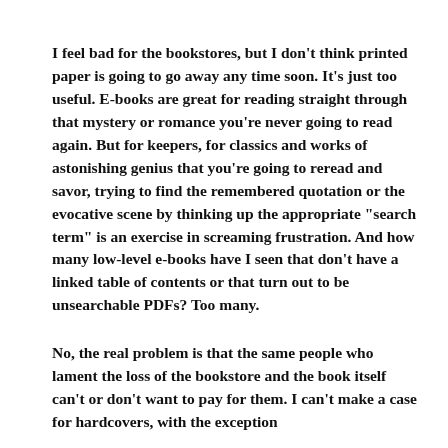I feel bad for the bookstores, but I don't think printed paper is going to go away any time soon. It's just too useful. E-books are great for reading straight through that mystery or romance you're never going to read again. But for keepers, for classics and works of astonishing genius that you're going to reread and savor, trying to find the remembered quotation or the evocative scene by thinking up the appropriate "search term" is an exercise in screaming frustration. And how many low-level e-books have I seen that don't have a linked table of contents or that turn out to be unsearchable PDFs? Too many.
No, the real problem is that the same people who lament the loss of the bookstore and the book itself can't or don't want to pay for them. I can't make a case for hardcovers, with the exception